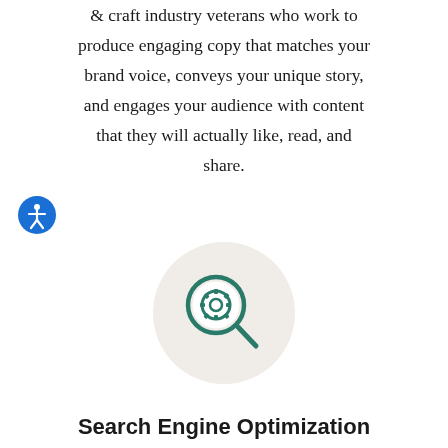& craft industry veterans who work to produce engaging copy that matches your brand voice, conveys your unique story, and engages your audience with content that they will actually like, read, and share.
[Figure (illustration): Accessibility icon: blue circle with white stick figure person]
[Figure (illustration): Search/SEO icon: magnifying glass with a gear/cog inside, on a light beige circular background]
Search Engine Optimization